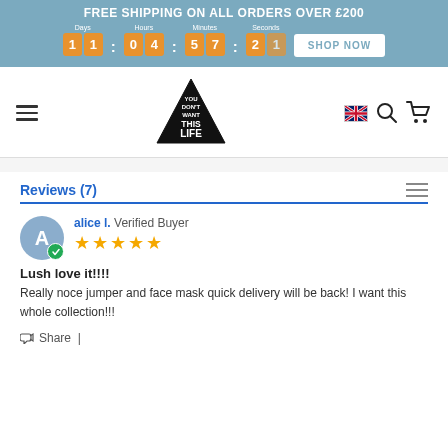FREE SHIPPING ON ALL ORDERS OVER £200
[Figure (infographic): Countdown timer showing 11 days, 04 hours, 57 minutes, 21 seconds with a SHOP NOW button]
[Figure (logo): Triangle logo with text YOU DON'T WANT THIS LIFE]
Reviews (7)
alice l. Verified Buyer
Lush love it!!!!
Really noce jumper and face mask quick delivery will be back! I want this whole collection!!!
Share |